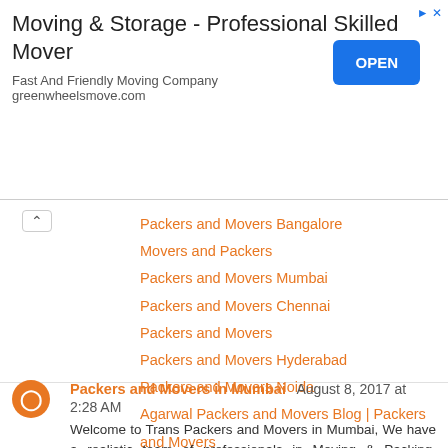[Figure (infographic): Advertisement banner for Moving & Storage - Professional Skilled Mover by greenwheelsmove.com with an OPEN button]
Packers and Movers Bangalore
Movers and Packers
Packers and Movers Mumbai
Packers and Movers Chennai
Packers and Movers
Packers and Movers Hyderabad
Packers and Movers Noida
Agarwal Packers and Movers Blog | Packers and Movers
Reply
Packers and Movers in Mumbai August 8, 2017 at 2:28 AM
Welcome to Trans Packers and Movers in Mumbai, We have a realistic team of professionals in Moving & Packing, Loading & Unloading and Transportation of your expensive goods with care. Packers and Movers in Mumbai goes